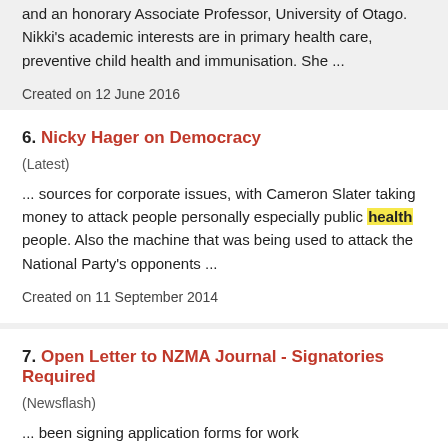and an honorary Associate Professor, University of Otago. Nikki's academic interests are in primary health care, preventive child health and immunisation. She ...
Created on 12 June 2016
6. Nicky Hager on Democracy
(Latest)
... sources for corporate issues, with Cameron Slater taking money to attack people personally especially public health people. Also the machine that was being used to attack the National Party's opponents ...
Created on 11 September 2014
7. Open Letter to NZMA Journal - Signatories Required
(Newsflash)
... been signing application forms for work